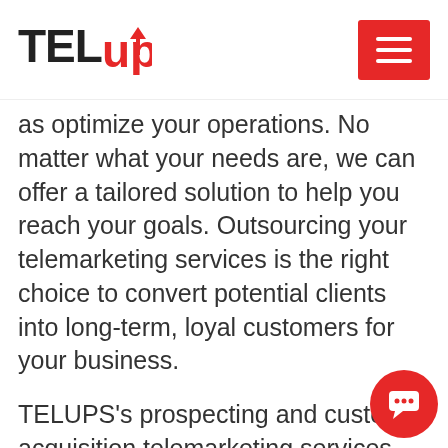TELUP
as optimize your operations. No matter what your needs are, we can offer a tailored solution to help you reach your goals. Outsourcing your telemarketing services is the right choice to convert potential clients into long-term, loyal customers for your business.
TELUPS's prospecting and customer acquisition telemarketing services may include calling potential customers to generate and qualify leads, set up appointments, encourage customers to visit stores and showrooms or to register